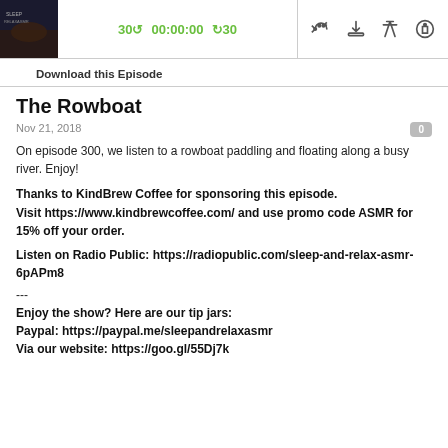[Figure (screenshot): Podcast player bar with thumbnail image, skip-back 30s button, 00:00:00 timestamp, skip-forward 30s button, and icons for RSS, download, embed, and notifications]
Download this Episode
The Rowboat
Nov 21, 2018
On episode 300, we listen to a rowboat paddling and floating along a busy river. Enjoy!
Thanks to KindBrew Coffee for sponsoring this episode.
Visit https://www.kindbrewcoffee.com/ and use promo code ASMR for 15% off your order.
Listen on Radio Public: https://radiopublic.com/sleep-and-relax-asmr-6pAPm8
---
Enjoy the show? Here are our tip jars:
Paypal: https://paypal.me/sleepandrelaxasmr
Via our website: https://goo.gl/55Dj7k